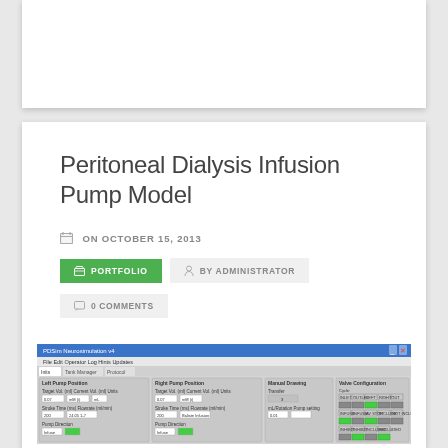Peritoneal Dialysis Infusion Pump Model
ON OCTOBER 15, 2013
PORTFOLIO
BY ADMINISTRATOR
0 COMMENTS
[Figure (screenshot): Screenshot of a software interface for the Peritoneal Dialysis Infusion Pump Model simulation, showing left/right pump sections, manual control, and valve configuration panels with various input fields and green indicator buttons.]